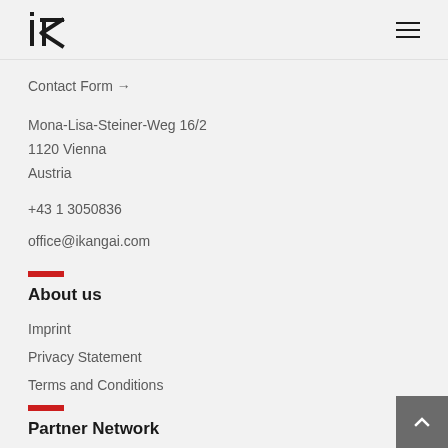iK
Contact Form →
Mona-Lisa-Steiner-Weg 16/2
1120 Vienna
Austria
+43 1 3050836
office@ikangai.com
About us
Imprint
Privacy Statement
Terms and Conditions
Partner Network